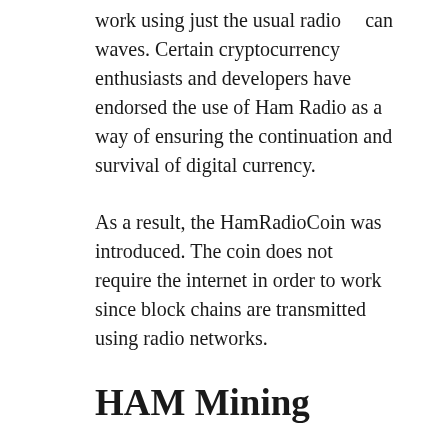can work using just the usual radio waves. Certain cryptocurrency enthusiasts and developers have endorsed the use of Ham Radio as a way of ensuring the continuation and survival of digital currency.
As a result, the HamRadioCoin was introduced. The coin does not require the internet in order to work since block chains are transmitted using radio networks.
HAM Mining
Currently, the coin requires a SHA256D proof of work in order to mine the coins. The current total number of coins is 21 million with the reward for each block being 50 coins. This reward halves every 50,000 blocks with a 3 minute interval. The difficulty retargets every